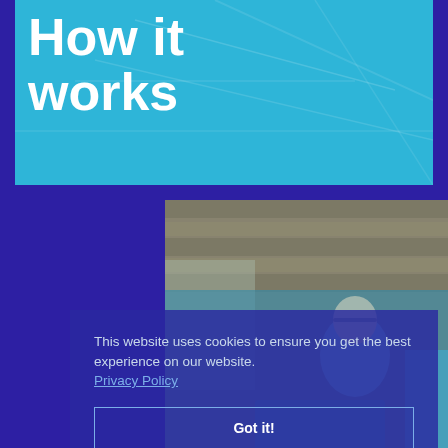How it works
[Figure (photo): Blue-tinted header background with geometric lines/illustration overlay]
[Figure (photo): Office scene with two people working at a laptop, wood ceiling, blue tint overlay]
This website uses cookies to ensure you get the best experience on our website. Privacy Policy
Got it!